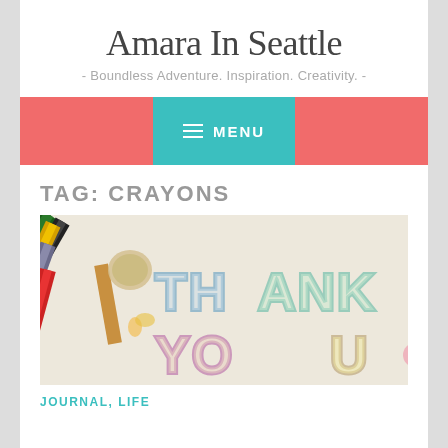Amara In Seattle
- Boundless Adventure. Inspiration. Creativity. -
MENU
TAG: CRAYONS
[Figure (photo): A photo of crayons and a hand-drawn 'Thank You' note with colorful bubble letters on white paper]
JOURNAL, LIFE